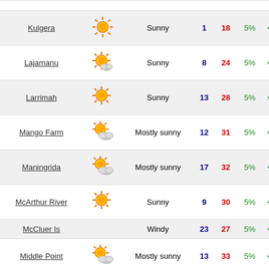| Location | Icon | Description | Min | Max | Rain Chance | Rain Amount |  |
| --- | --- | --- | --- | --- | --- | --- | --- |
| Kulgera | sunny | Sunny | 1 | 18 | 5% | < 1mm | Mo |
| Lajamanu | sunny | Sunny | 8 | 24 | 5% | < 1mm |  |
| Larrimah | sunny | Sunny | 13 | 28 | 5% | < 1mm |  |
| Mango Farm | mostly-sunny | Mostly sunny | 12 | 31 | 5% | < 1mm |  |
| Maningrida | mostly-sunny | Mostly sunny | 17 | 32 | 5% | < 1mm |  |
| McArthur River | sunny | Sunny | 9 | 30 | 5% | < 1mm |  |
| McCluer Is |  | Windy | 23 | 27 | 5% | < 1mm |  |
| Middle Point | mostly-sunny | Mostly sunny | 13 | 33 | 5% | < 1mm |  |
| Milingimbi | mostly-sunny | Mostly sunny | 18 | 32 | 5% | < 1mm |  |
| Minjilang | mostly-sunny | Mostly sunny | 20 | 31 | 5% | < 1mm |  |
| Murganella | mostly-sunny | Mostly sunny | 15 | 32 | 5% | < 1mm |  |